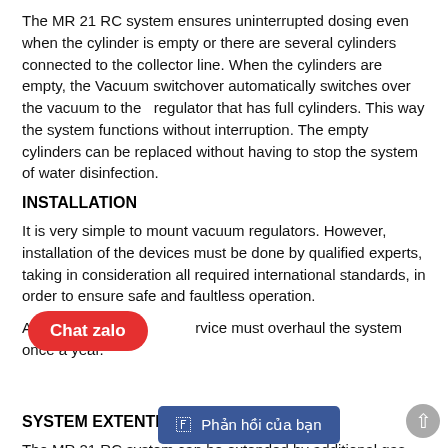The MR 21 RC system ensures uninterrupted dosing even when the cylinder is empty or there are several cylinders connected to the collector line. When the cylinders are empty, the Vacuum switchover automatically switches over the vacuum to the regulator that has full cylinders. This way the system functions without interruption. The empty cylinders can be replaced without having to stop the system of water disinfection.
INSTALLATION
It is very simple to mount vacuum regulators. However, installation of the devices must be done by qualified experts, taking in consideration all required international standards, in order to ensure safe and faultless operation.
An authorized service must overhaul the system once a year.
SYSTEM EXTENTION OPTIONS
The MR 21 RC system can be extended by additional gas flowmeters which have to be installed parallel to the existing one. This way the system can supply multiple dosing points, but in this case a master controller must control it. When